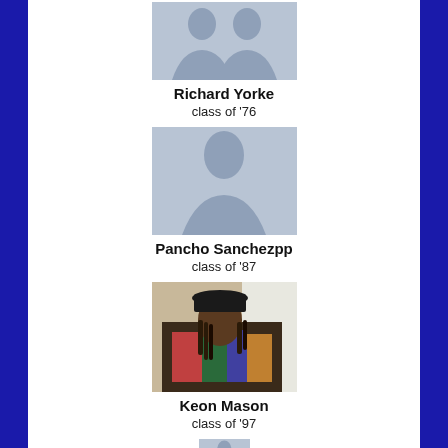[Figure (illustration): Placeholder avatar silhouette for Richard Yorke]
Richard Yorke
class of '76
[Figure (illustration): Placeholder avatar silhouette for Pancho Sanchezpp]
Pancho Sanchezpp
class of '87
[Figure (photo): Photo of Keon Mason, a person with dreadlocks wearing a colorful patterned jacket and hat]
Keon Mason
class of '97
[Figure (illustration): Partial placeholder avatar silhouette at bottom of page]